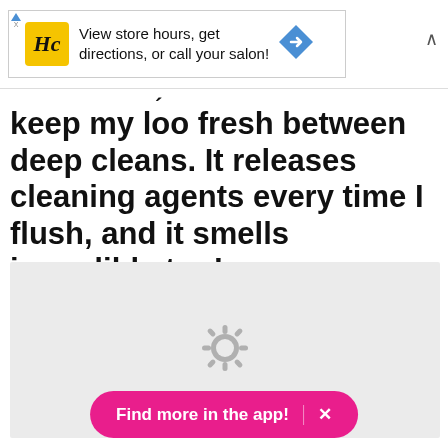[Figure (screenshot): Advertisement banner with HC (Hair Club) logo in yellow square, text 'View store hours, get directions, or call your salon!' with a blue navigation arrow icon]
keep my loo fresh between deep cleans. It releases cleaning agents every time I flush, and it smells incredible too!
[Figure (screenshot): Gray loading area with a spinning loader/gear icon in the center]
Find more in the app! ×